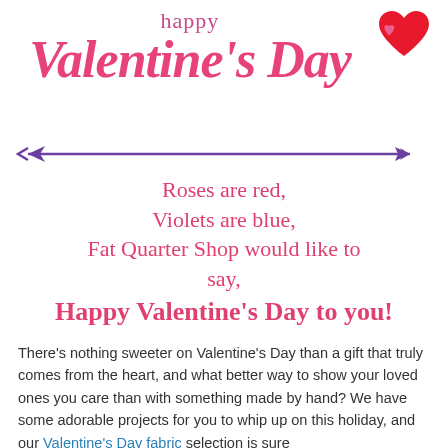happy Valentine's Day
[Figure (illustration): Arrow decoration and heart icons for Valentine's Day header]
Roses are red,
Violets are blue,
Fat Quarter Shop would like to say,
Happy Valentine's Day to you!
There's nothing sweeter on Valentine's Day than a gift that truly comes from the heart, and what better way to show your loved ones you care than with something made by hand? We have some adorable projects for you to whip up on this holiday, and our Valentine's Day fabric selection is sure